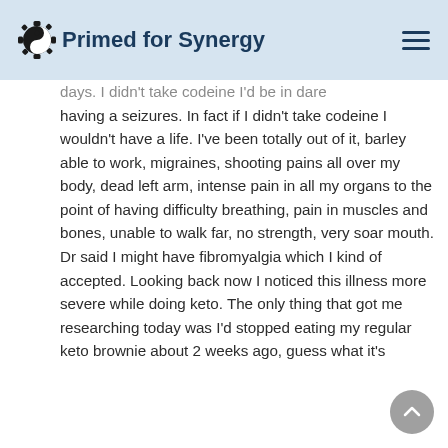Primed for Synergy
days. I didn't take codeine I'd be in dare having a seizures. In fact if I didn't take codeine I wouldn't have a life. I've been totally out of it, barley able to work, migraines, shooting pains all over my body, dead left arm, intense pain in all my organs to the point of having difficulty breathing, pain in muscles and bones, unable to walk far, no strength, very soar mouth. Dr said I might have fibromyalgia which I kind of accepted. Looking back now I noticed this illness more severe while doing keto. The only thing that got me researching today was I'd stopped eating my regular keto brownie about 2 weeks ago, guess what it's